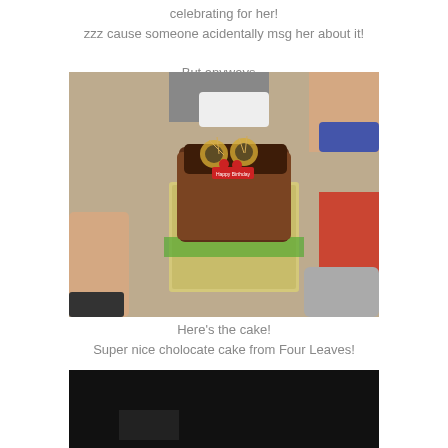celebrating for her!
zzz cause someone acidentally msg her about it!

But anyways...
[Figure (photo): A chocolate birthday cake in a decorated box sitting on a tiled floor, surrounded by people's feet and legs. The cake has decorative elements on top and a small sign reading 'Happy Birthday'.]
Here's the cake!
Super nice cholocate cake from Four Leaves!
[Figure (photo): A very dark/nearly black photograph, appears to be taken at night with very little visible detail.]